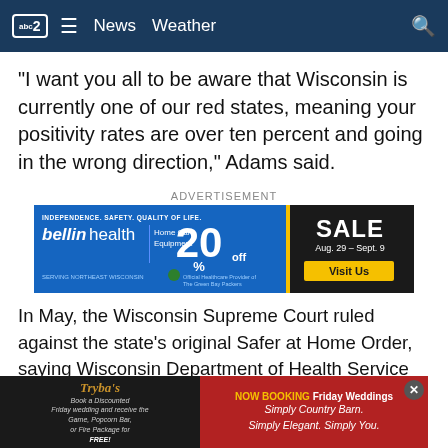abc2  News  Weather
"I want you all to be aware that Wisconsin is currently one of our red states, meaning your positivity rates are over ten percent and going in the wrong direction," Adams said.
ADVERTISEMENT
[Figure (other): Bellin Health Home Care Equipment advertisement: 20% off sale, Aug. 29 - Sept. 9, Visit Us]
In May, the Wisconsin Supreme Court ruled against the state's original Safer at Home Order, saying Wisconsin Department of Health Service secretary-designee Andrea Palm did not have power to issue such an order. On a 4-3 vote, the conservative majority at the time ruled that the order w... govern...
[Figure (other): Trybas Simply Country Barn advertisement: Now Booking Friday Weddings, Book a Discounted Friday wedding and receive the Game, Popcorn Bar, or Fire Package for FREE! Simply Country Barn. Simply Elegant. Simply You.]